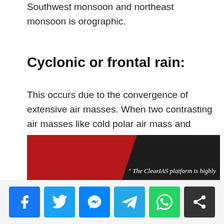Southwest monsoon and northeast monsoon is orographic.
Cyclonic or frontal rain:
This occurs due to the convergence of extensive air masses. When two contrasting air masses like cold polar air mass and warm westerly air mass coming from opposite directions converge along a line a front is formed. The warm wind is lifted upward along this front where the cold air being heavier settles down.
[Figure (illustration): Red and black banner with italic text reading '" The ClearIAS platform is highly']
[Figure (infographic): Social media sharing buttons: Facebook (blue), Twitter (light blue), Messenger (blue), Telegram (teal), WhatsApp (green), Share (dark gray)]